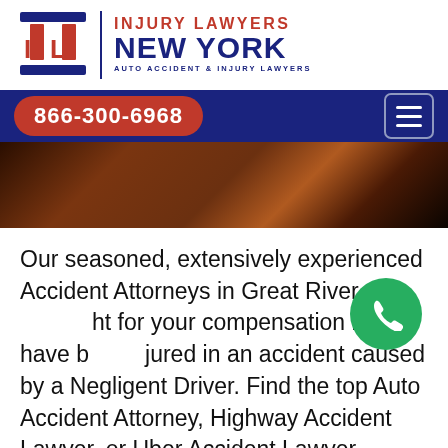[Figure (logo): Injury Lawyers New York logo with red IL column icon, blue divider, red INJURY LAWYERS text, blue NEW YORK text, blue AUTO ACCIDENT & INJURY LAWYERS subtext]
866-300-6968
[Figure (photo): Dark brown/amber blurred background hero image]
Our seasoned, extensively experienced Accident Attorneys in Great River fight for your compensation if you have been injured in an accident caused by a Negligent Driver. Find the top Auto Accident Attorney, Highway Accident Lawyer, or Uber Accident Lawyer